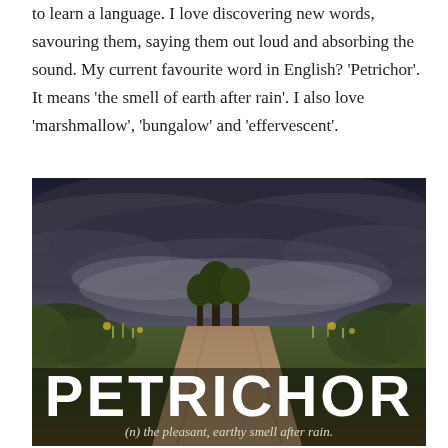to learn a language. I love discovering new words, savouring them, saying them out loud and absorbing the sound. My current favourite word in English? 'Petrichor'. It means 'the smell of earth after rain'. I also love 'marshmallow', 'bungalow' and 'effervescent'.
[Figure (photo): A dramatic stormy sky over a rural dirt path lined with green vegetation and trees. Large bold white text reads 'PETRICHOR' with subtitle '(n) the pleasant, earthy smell after rain.']